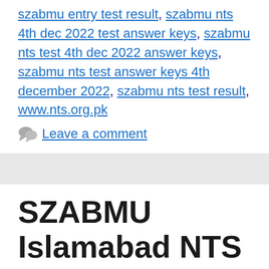szabmu entry test result, szabmu nts 4th dec 2022 test answer keys, szabmu nts test 4th dec 2022 answer keys, szabmu nts test answer keys 4th december 2022, szabmu nts test result, www.nts.org.pk
Leave a comment
SZABMU Islamabad NTS Test Result & Answer Keys 26th Nov 2022 – StudyInfo PK